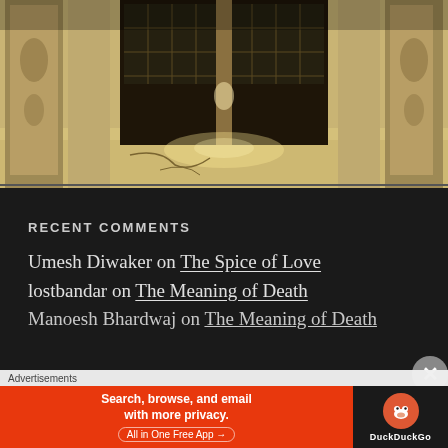[Figure (photo): Interior of an ornate room with carved stone columns and pillars, decorative archways, a dark wooden door or window in the center, and a marble or stone floor with cracks. Warm golden-beige tones, sunlight filtering through latticed windows.]
RECENT COMMENTS
Umesh Diwaker on The Spice of Love
lostbandar on The Meaning of Death
Manoesh Bhardwaj on The Meaning of Death
[Figure (screenshot): DuckDuckGo advertisement banner: orange left panel with text 'Search, browse, and email with more privacy. All in One Free App', black right panel with DuckDuckGo duck logo and brand name.]